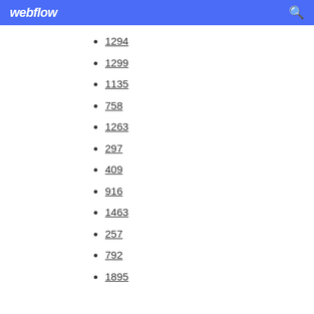webflow
1294
1299
1135
758
1263
297
409
916
1463
257
792
1895